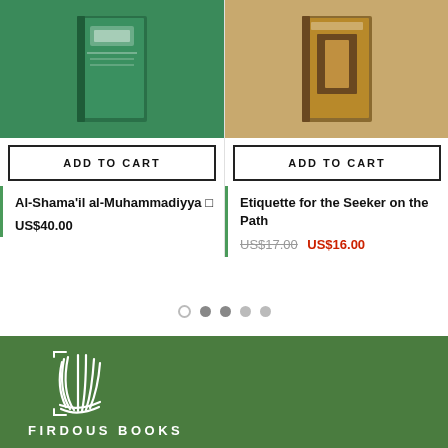[Figure (illustration): Book cover of Al-Shama'il al-Muhammadiyya on a green background]
[Figure (illustration): Book cover of Etiquette for the Seeker on the Path on a brown/golden background]
ADD TO CART
ADD TO CART
Al-Shama'il al-Muhammadiyya ◻
US$40.00
Etiquette for the Seeker on the Path
US$17.00  US$16.00
[Figure (other): Carousel pagination dots — one hollow, four filled grey]
[Figure (logo): Firdous Books logo — white stylized feather/book icon with text FIRDOUS BOOKS]
FIRDOUS BOOKS